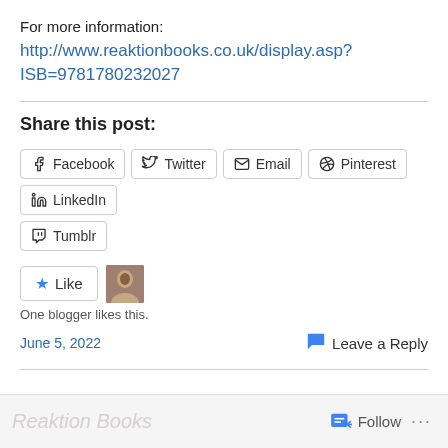For more information:
http://www.reaktionbooks.co.uk/display.asp?ISB=9781780232027
Share this post:
Facebook
Twitter
Email
Pinterest
LinkedIn
Tumblr
One blogger likes this.
June 5, 2022
Leave a Reply
Follow